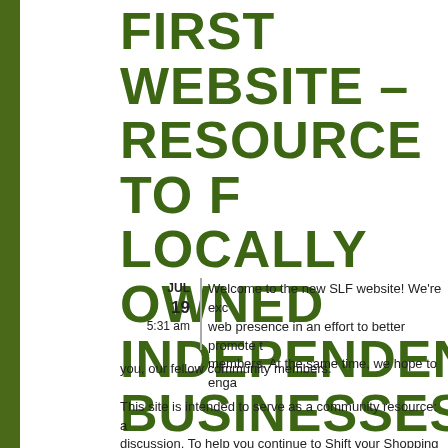FIRST WEBSITE – RESOURCE TO FIND LOCALLY OWNED INDEPENDENT BUSINESSES IN SOMERVILLE
JUL 19 5:31 am — Welcome to the new SLF website! We're excited about our new web presence in an effort to better promote the interests of our members. At the same time, we hope to engage you, our fellow community members.
This site is intended to serve as a community resource: a place for discussion. To help you continue to Shift your Shopping businesses, we are incorporating a number of new features